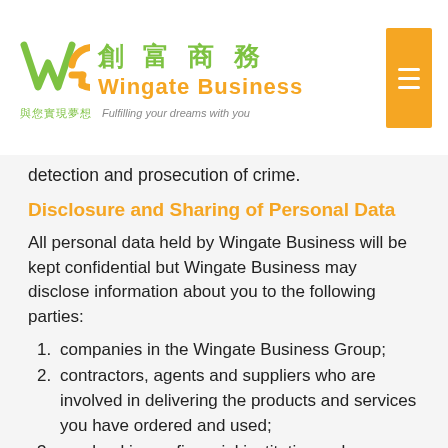Wingate Business 創富商務 與您實現夢想 Fulfilling your dreams with you
detection and prosecution of crime.
Disclosure and Sharing of Personal Data
All personal data held by Wingate Business will be kept confidential but Wingate Business may disclose information about you to the following parties:
companies in the Wingate Business Group;
contractors, agents and suppliers who are involved in delivering the products and services you have ordered and used;
any banking or financial institutions, charge or credit card issuing companies;
credit information or reference bureaus;
debt-collection agencies or other debt-recovery organizations;